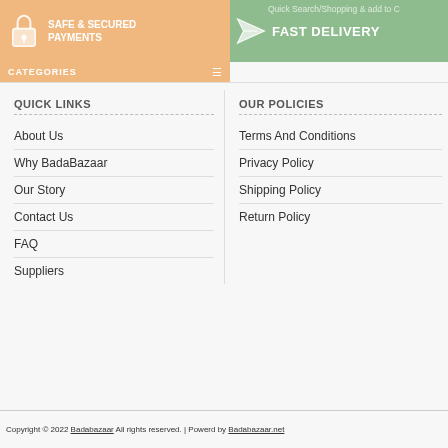SAFE & SECURED PAYMENTS | FAST DELIVERY
QUICK LINKS
OUR POLICIES
About Us
Why BadaBazaar
Our Story
Contact Us
FAQ
Suppliers
Terms And Conditions
Privacy Policy
Shipping Policy
Return Policy
Copyright © 2022 Badabazaar All rights reserved. | Powerd by Badabazaar.net